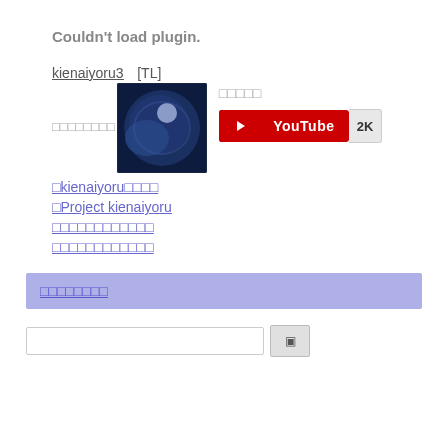Couldn't load plugin.
kienaiyoru3    [TL]
[Figure (other): Avatar image of moon/earth against dark blue space background, circular crop effect]
□□□□□ (Japanese characters)
[Figure (logo): YouTube subscribe button with 2K subscribers count]
□□□□□□□□ (Japanese characters, left label)
□kienaiyoru□□□□ (link with Japanese)
□Project kienaiyoru (link)
□□□□□□□□□□□□ (link, Japanese)
□□□□□□□□□□□□ (link, Japanese)
□□□□□□□□ (blue bar, Japanese)
Search input and button